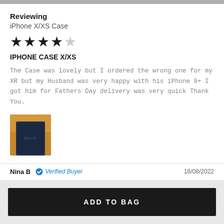Reviewing
iPhone X/XS Case
[Figure (other): 4 out of 5 stars rating — 4 filled black stars and 1 empty/grey star]
IPHONE CASE X/XS
The Case was lovely but I ordered the wrong one for my XR but my Husband was very happy with his iPhone 8+ I got him for Fathers Day delivery was very quick Thank You.
[Figure (photo): Photo of a dark navy blue iPhone case on an orange/yellow background]
Nina B  Verified Buyer  16/08/2022
ADD TO BAG